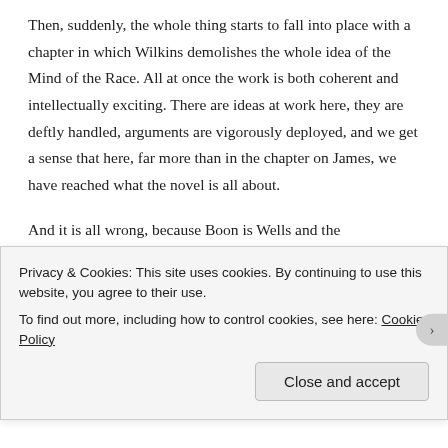Then, suddenly, the whole thing starts to fall into place with a chapter in which Wilkins demolishes the whole idea of the Mind of the Race. All at once the work is both coherent and intellectually exciting. There are ideas at work here, they are deftly handled, arguments are vigorously deployed, and we get a sense that here, far more than in the chapter on James, we have reached what the novel is all about.
And it is all wrong, because Boon is Wells and the evolutionary stance behind the idea of the racial mind is a central plank in everything Wells believed, and yet this novel only comes to life when Wells
Privacy & Cookies: This site uses cookies. By continuing to use this website, you agree to their use.
To find out more, including how to control cookies, see here: Cookie Policy